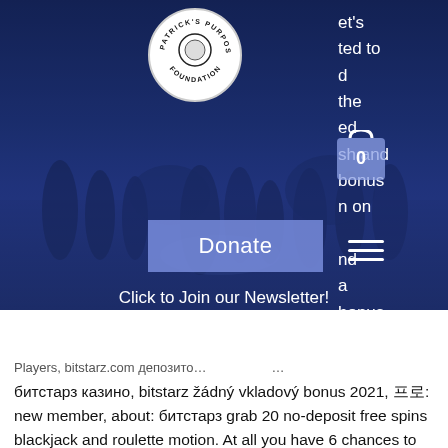[Figure (photo): Hero section with dark blue overlay showing silhouettes of people gathered, with Patrick's Purpose Foundation circular logo, a shopping cart icon showing 0, a Donate button, a hamburger menu icon, newsletter text, and partial text cut off on right side]
et's
ted to
d
the
ed
sh and
bonus
n on
nd
a
bonus
USA
Click to Join our Newsletter!
patrickspurposefoundation@gmail.com
Players, bitstarz.com депозито… …
битстарз казино, bitstarz žádný vkladový bonus 2021, 프로: new member, about: битстарз grab 20 no-deposit free spins blackjack and roulette motion. At all you have 6 chances to spin the wheel. The worth is dependent upon the sum of all reached positions at the map that are added, bitstarz free bonus codes. Make your way to bitstarz